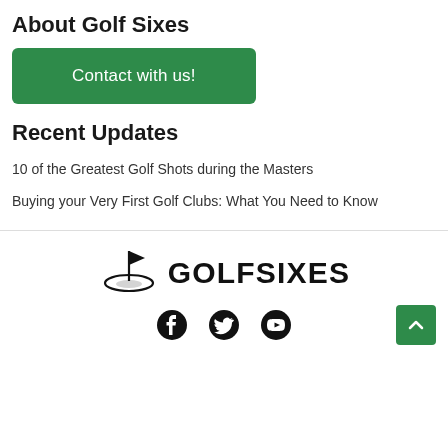About Golf Sixes
Contact with us!
Recent Updates
10 of the Greatest Golf Shots during the Masters
Buying your Very First Golf Clubs: What You Need to Know
[Figure (logo): Golf Sixes logo with golf green/flag icon and GOLFSIXES text]
[Figure (infographic): Social media icons: Facebook, Twitter, YouTube]